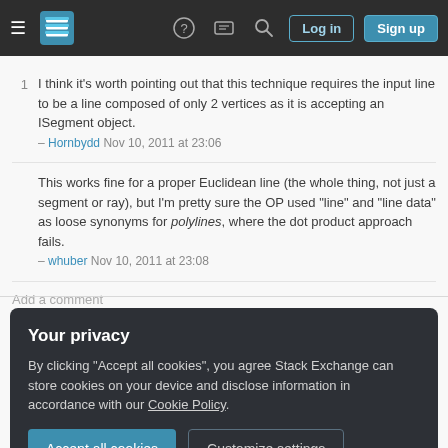Stack Exchange navigation bar with hamburger menu, logo, help, chat, search, Log in and Sign up buttons
1  I think it's worth pointing out that this technique requires the input line to be a line composed of only 2 vertices as it is accepting an ISegment object. – Hornbydd Nov 10, 2011 at 23:06
This works fine for a proper Euclidean line (the whole thing, not just a segment or ray), but I'm pretty sure the OP used "line" and "line data" as loose synonyms for polylines, where the dot product approach fails. – whuber Nov 10, 2011 at 23:08
Add a comment
Your privacy
By clicking "Accept all cookies", you agree Stack Exchange can store cookies on your device and disclose information in accordance with our Cookie Policy.
Accept all cookies   Customize settings
3. Check whether buffer geometry is 'inside' the